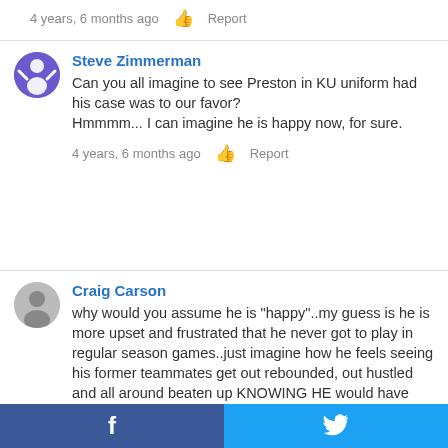4 years, 6 months ago   👍  Report
Steve Zimmerman
Can you all imagine to see Preston in KU uniform had his case was to our favor?
Hmmmm... I can imagine he is happy now, for sure.
4 years, 6 months ago   👍  Report
Craig Carson
why would you assume he is "happy"..my guess is he is more upset and frustrated that he never got to play in regular season games..just imagine how he feels seeing his former teammates get out rebounded, out hustled and all around beaten up KNOWING HE would have prevented that if he could have played.. happy he is not.